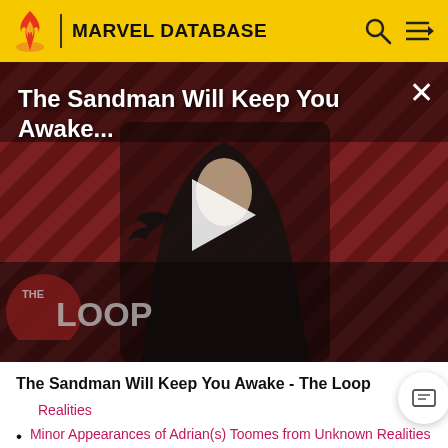MARVEL DATABASE
[Figure (screenshot): Video thumbnail showing a dark-robed figure (Sandman/Dream) against a red and black diagonal striped background with a raven. Title overlay reads 'The Sandman Will Keep You Awake...' with a play button and THE LOOP watermark.]
The Sandman Will Keep You Awake - The Loop
Realities
Minor Appearances of Adrian(s) Toomes from Unknown Realities
Images of Adrian(s) Toomes from Unknown Realities